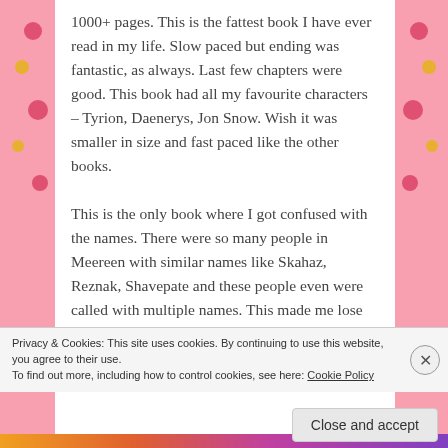1000+ pages. This is the fattest book I have ever read in my life. Slow paced but ending was fantastic, as always. Last few chapters were good. This book had all my favourite characters – Tyrion, Daenerys, Jon Snow. Wish it was smaller in size and fast paced like the other books. This is the only book where I got confused with the names. There were so many people in Meereen with similar names like Skahaz, Reznak, Shavepate and these people even were called with multiple names. This made me lose track of who belonged to which free company. There were so many free companies and sellswords to keep track of!!!
Privacy & Cookies: This site uses cookies. By continuing to use this website, you agree to their use.
To find out more, including how to control cookies, see here: Cookie Policy
Close and accept